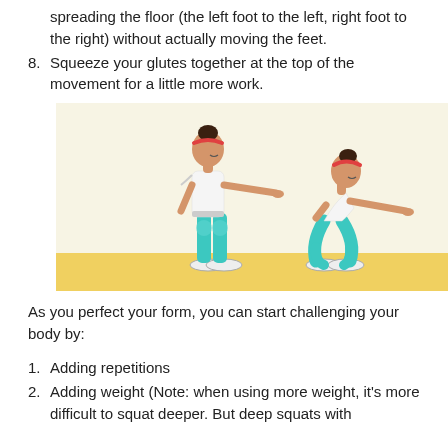spreading the floor (the left foot to the left, right foot to the right) without actually moving the feet.
Squeeze your glutes together at the top of the movement for a little more work.
[Figure (illustration): Two figures demonstrating a squat exercise: one standing upright with arms extended forward, one in a squat position with arms extended forward. Both wear white tanks, teal leggings, and white sneakers. Yellow floor strip at bottom.]
As you perfect your form, you can start challenging your body by:
Adding repetitions
Adding weight (Note: when using more weight, it's more difficult to squat deeper. But deep squats with